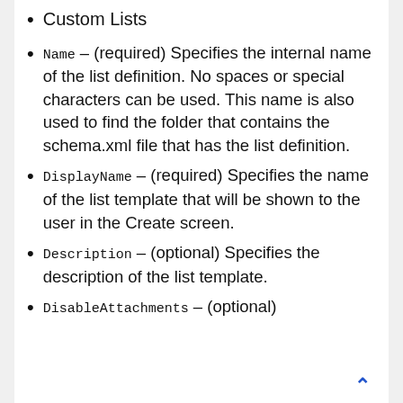Custom Lists
Name – (required) Specifies the internal name of the list definition. No spaces or special characters can be used. This name is also used to find the folder that contains the schema.xml file that has the list definition.
DisplayName – (required) Specifies the name of the list template that will be shown to the user in the Create screen.
Description – (optional) Specifies the description of the list template.
DisableAttachments – (optional)